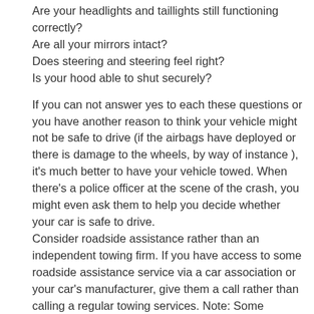Are your headlights and taillights still functioning correctly?
Are all your mirrors intact?
Does steering and steering feel right?
Is your hood able to shut securely?
If you can not answer yes to each these questions or you have another reason to think your vehicle might not be safe to drive (if the airbags have deployed or there is damage to the wheels, by way of instance ), it's much better to have your vehicle towed. When there's a police officer at the scene of the crash, you might even ask them to help you decide whether your car is safe to drive.
Consider roadside assistance rather than an independent towing firm. If you have access to some roadside assistance service via a car association or your car's manufacturer, give them a call rather than calling a regular towing services. Note: Some roadside assistance providers do not cover towing following a